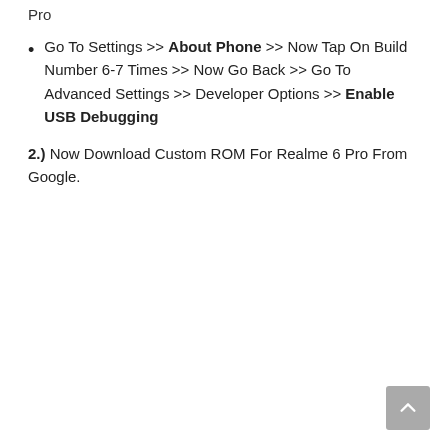Pro
Go To Settings >> About Phone >> Now Tap On Build Number 6-7 Times >> Now Go Back >> Go To Advanced Settings >> Developer Options >> Enable USB Debugging
2.) Now Download Custom ROM For Realme 6 Pro From Google.